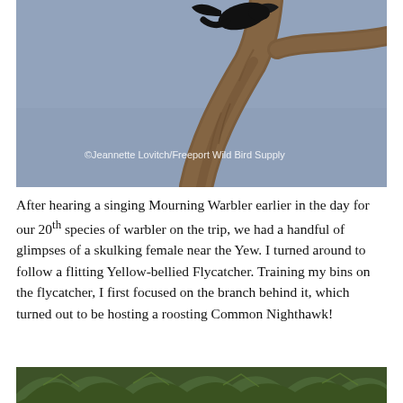[Figure (photo): A bird (Common Nighthawk) perched on a tree branch against a gray-blue sky. The bird is dark/black. A watermark reads '©Jeannette Lovitch/Freeport Wild Bird Supply'.]
After hearing a singing Mourning Warbler earlier in the day for our 20th species of warbler on the trip, we had a handful of glimpses of a skulking female near the Yew. I turned around to follow a flitting Yellow-bellied Flycatcher. Training my bins on the flycatcher, I first focused on the branch behind it, which turned out to be hosting a roosting Common Nighthawk!
[Figure (photo): Bottom portion of a photo showing pine/conifer tree branches with green needles.]